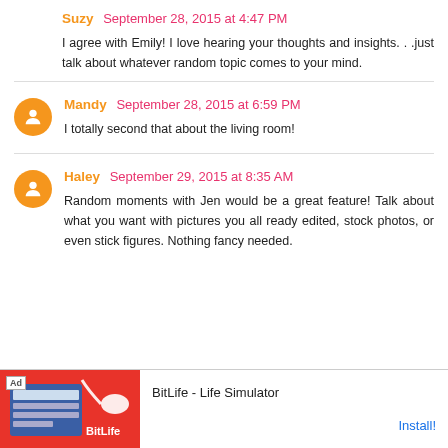Suzy September 28, 2015 at 4:47 PM
I agree with Emily! I love hearing your thoughts and insights. . .just talk about whatever random topic comes to your mind.
Mandy September 28, 2015 at 6:59 PM
I totally second that about the living room!
Haley September 29, 2015 at 8:35 AM
Random moments with Jen would be a great feature! Talk about what you want with pictures you all ready edited, stock photos, or even stick figures. Nothing fancy needed.
[Figure (screenshot): Advertisement banner for BitLife - Life Simulator app with Install button]